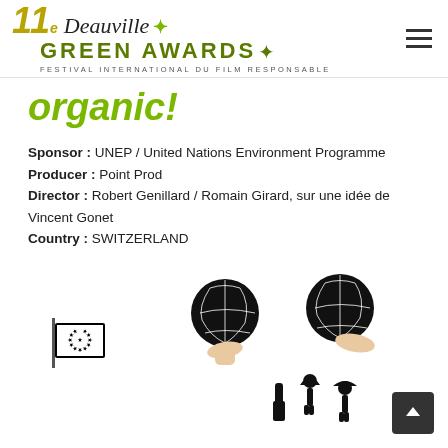11e Deauville GREEN AWARDS — FESTIVAL INTERNATIONAL DU FILM RESPONSABLE
organic!
Sponsor : UNEP / United Nations Environment Programme
Producer : Point Prod
Director : Robert Genillard / Romain Girard, sur une idée de Vincent Gonet
Country : SWITZERLAND
[Figure (illustration): TROPHÉE OR badge with golden wheat/laurel decoration]
[Figure (illustration): Animated-style illustration showing hands holding globe icons, EU flag, farm characters, and other figures related to organic/environment theme]